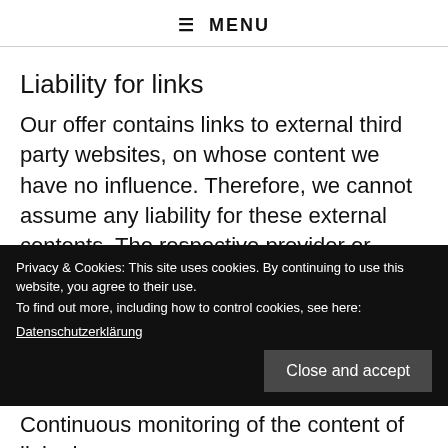☰ MENU
Liability for links
Our offer contains links to external third party websites, on whose content we have no influence. Therefore, we cannot assume any liability for these external contents. The respective provider or operator of the pages is always responsible for the contents of the linked pages. The linked pages were checked for
Privacy & Cookies: This site uses cookies. By continuing to use this website, you agree to their use.
To find out more, including how to control cookies, see here:
Datenschutzerklärung
Continuous monitoring of the content of linked